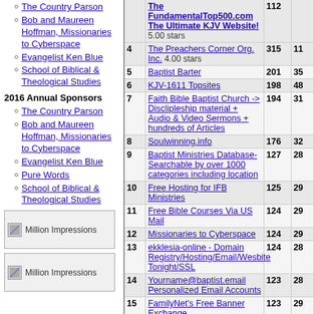The Country Parson
Bob and Maureen Hoffman, Missionaries to Cyberspace
Evangelist Ken Blue
School of Biblical & Theological Studies
2016 Annual Sponsors
The Country Parson
Bob and Maureen Hoffman, Missionaries to Cyberspace
Evangelist Ken Blue
Pure Words
School of Biblical & Theological Studies
[Figure (other): Million Impressions banner ad]
[Figure (other): Million Impressions banner ad]
| # | Site | In | Out |
| --- | --- | --- | --- |
|  | TheFundamentalTop500.com The Ultimate KJV Website! 5.00 stars | 112 |  |
| 4 | The Preachers Corner Org. Inc. 4.00 stars | 315 | 11 |
| 5 | Baptist Barter | 201 | 35 |
| 6 | KJV-1611 Topsites | 198 | 48 |
| 7 | Faith Bible Baptist Church -> Disclipleship material + Audio & Video Sermons + hundreds of Articles | 194 | 31 |
| 8 | Soulwinning.info | 176 | 32 |
| 9 | Baptist Ministries Database-Searchable by over 1000 categories including location | 127 | 28 |
| 10 | Free Hosting for IFB Ministries | 125 | 29 |
| 11 | Free Bible Courses Via US Mail | 124 | 29 |
| 12 | Missionaries to Cyberspace | 124 | 29 |
| 13 | ekklesia-online - Domain Registry/Hosting/Email/Wesbite Tonight/SSL | 124 | 28 |
| 14 | Yourname@baptist.email Personalized Email Accounts | 123 | 28 |
| 15 | FamilyNet's Free Banner Exchange | 123 | 29 |
| 16 | Bible Truth | 95 | 36 |
| 17 | College of The Open Bible | 85 | 31 |
| 18 | Free Bulletin Insert, Sunday School Lessons, & A Daily Commentary Devotion (KJV) | 83 | 19 |
| 19 | The Lion of Judah - Online Audio, Video, and News | 71 | 10 |